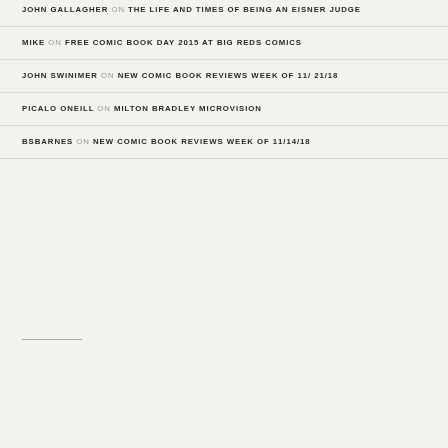JOHN GALLAGHER ON THE LIFE AND TIMES OF BEING AN EISNER JUDGE
MIKE ON FREE COMIC BOOK DAY 2015 AT BIG REDS COMICS
JOHN SWINIMER ON NEW COMIC BOOK REVIEWS WEEK OF 11/21/18
PICALO ONEILL ON MILTON BRADLEY MICROVISION
BSBARNES ON NEW COMIC BOOK REVIEWS WEEK OF 11/14/18